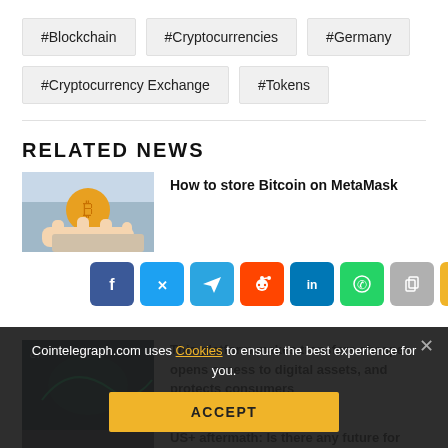#Blockchain
#Cryptocurrencies
#Germany
#Cryptocurrency Exchange
#Tokens
RELATED NEWS
[Figure (photo): Hands holding Bitcoin coin and wallet]
How to store Bitcoin on MetaMask
[Figure (infographic): Social share bar with Facebook, Twitter, Telegram, Reddit, LinkedIn, WhatsApp, Copy, and Up arrow buttons]
[Figure (photo): Partially visible crypto platform image]
This platform makes transfers cheaper, opens access to digital assets, and protects consumers
[Figure (photo): Partially visible third news item image]
US+ aftermath: Is there any future for
Cointelegraph.com uses Cookies to ensure the best experience for you.
ACCEPT